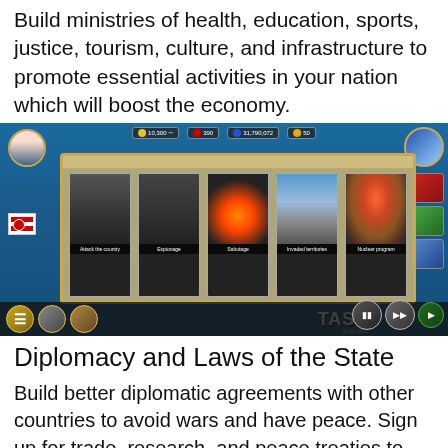Build ministries of health, education, sports, justice, tourism, culture, and infrastructure to promote essential activities in your nation which will boost the economy.
[Figure (screenshot): Screenshot of a strategy/simulation game showing a world map with ocean and islands. A central panel displays five action cards: 'Attack the country', 'Espionage', 'Sabotage', 'Invaded territories', 'Nuclear program'. HUD elements include resource counters at top (10,300; 390; 31,790,072; 50), player portrait, flags, country icons, and game controls at bottom including pause, fast-forward, and play buttons. Date shown: 01-02-2021.]
Diplomacy and Laws of the State
Build better diplomatic agreements with other countries to avoid wars and have peace. Sign up for trade, research, and peace treaties to work for